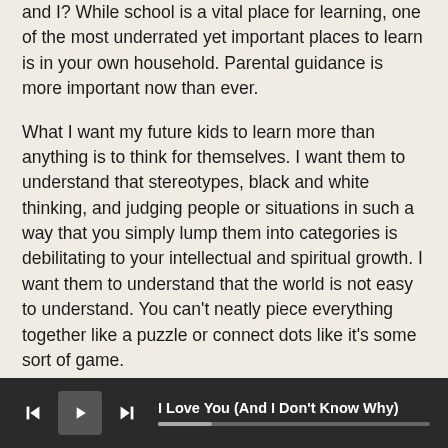and I? While school is a vital place for learning, one of the most underrated yet important places to learn is in your own household. Parental guidance is more important now than ever.
What I want my future kids to learn more than anything is to think for themselves. I want them to understand that stereotypes, black and white thinking, and judging people or situations in such a way that you simply lump them into categories is debilitating to your intellectual and spiritual growth. I want them to understand that the world is not easy to understand. You can't neatly piece everything together like a puzzle or connect dots like it's some sort of game.
I want my kids to understand the importance of always taking a step back when opinions or information is given to them. Whether it be from the TV, friends, or even their own mom and dad, I want them to analyze and question what everyone has to say and choose for themselves what they think is the right opinion to take. Don't let the
I Love You (And I Don't Know Why)